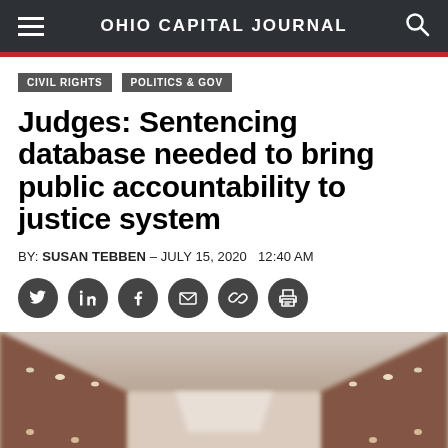OHIO CAPITAL JOURNAL
CIVIL RIGHTS
POLITICS & GOV
Judges: Sentencing database needed to bring public accountability to justice system
BY: SUSAN TEBBEN – JULY 15, 2020  12:40 AM
[Figure (photo): Interior of a courtroom or auditorium with wooden paneling, recessed ceiling lights, and rows of seats viewed from the front, blurred/soft focus.]